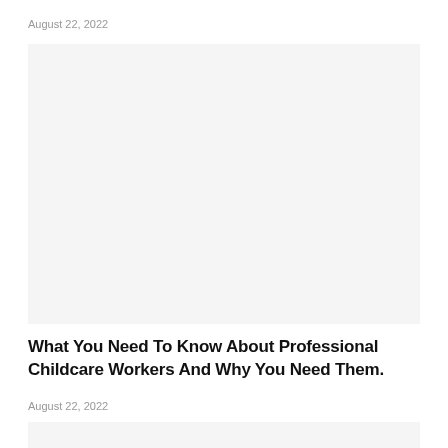August 22, 2022
[Figure (photo): Large image placeholder at top of article]
What You Need To Know About Professional Childcare Workers And Why You Need Them.
August 22, 2022
[Figure (photo): Small image placeholder at bottom of page]